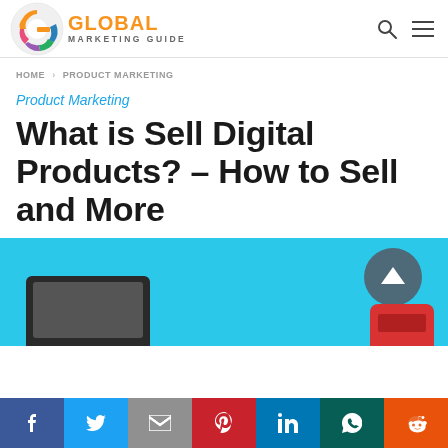[Figure (logo): Global Marketing Guide logo with colorful G icon and orange/grey text]
HOME > PRODUCT MARKETING
Product Marketing
What is Sell Digital Products? – How to Sell and More
[Figure (illustration): Cyan background with tablet device and partial robot character; scroll-to-top button visible]
[Figure (infographic): Social share bar with Facebook, Twitter, Gmail, Pinterest, LinkedIn, WhatsApp, Reddit buttons]